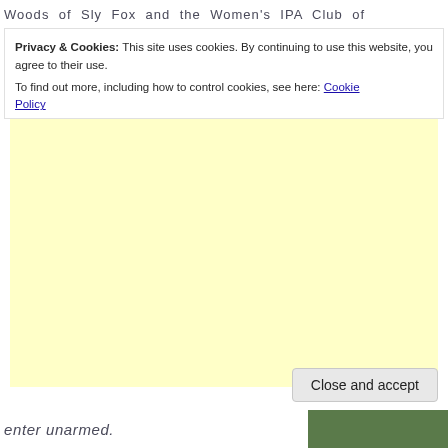Woods of Sly Fox and the Women's IPA Club of
Privacy & Cookies: This site uses cookies. By continuing to use this website, you agree to their use.
To find out more, including how to control cookies, see here: Cookie Policy
[Figure (other): Light yellow advertisement placeholder box]
Close and accept
enter unarmed.